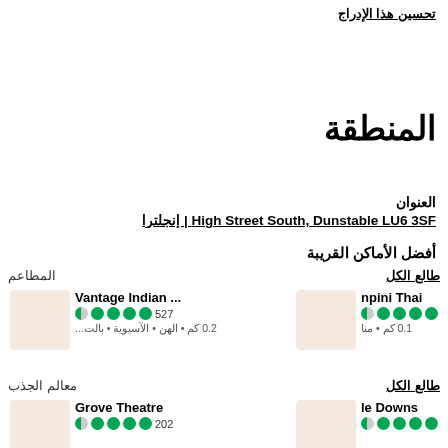تحسين هذا الإدراج
المنطقة
العنوان
High Street South, Dunstable LU6 3SF | إنجلترا
أفضل الأماكن القريبة
المطاعم
طالع الكل
Vantage Indian ...
527
0.2 كم • الهن • الآسيوية • بالت...
npini Thai
0.1 كم • منا
معالم الجذب
طالع الكل
Grove Theatre
202
le Downs